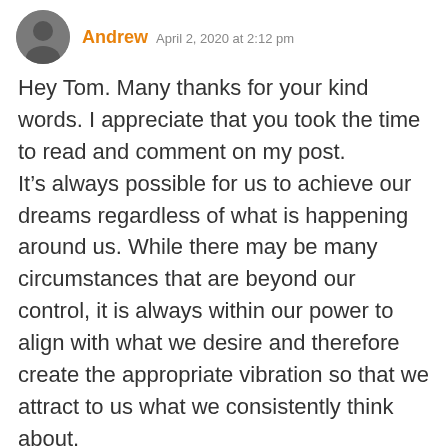Andrew  April 2, 2020 at 2:12 pm
Hey Tom. Many thanks for your kind words. I appreciate that you took the time to read and comment on my post.
It’s always possible for us to achieve our dreams regardless of what is happening around us. While there may be many circumstances that are beyond our control, it is always within our power to align with what we desire and therefore create the appropriate vibration so that we attract to us what we consistently think about.
The Main Stream Media is very